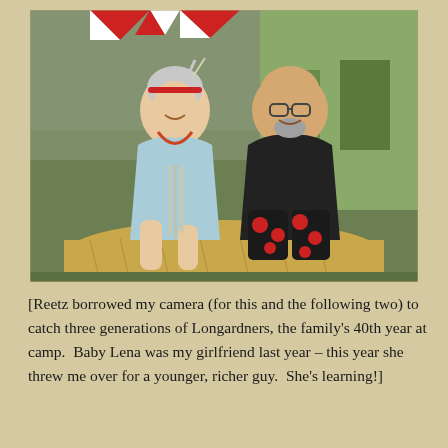[Figure (photo): Two older adults, a woman and a man, sitting on a hay bale at an outdoor festival. The woman on the left wears a light blue dress with festive accessories and feathers in her hair. The man on the right wears a black t-shirt and red floral shorts. In the background there are red and white checkered banners, a chain-link fence, bicycles, and green grass.]
[Reetz borrowed my camera (for this and the following two) to catch three generations of Longardners, the family's 40th year at camp.  Baby Lena was my girlfriend last year – this year she threw me over for a younger, richer guy.  She's learning!]